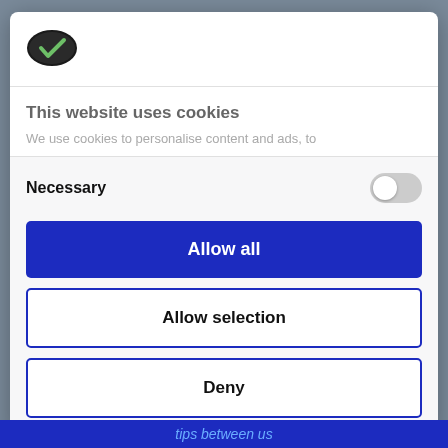[Figure (logo): Cookie/Cookiebot logo - dark oval shape with checkmark]
This website uses cookies
We use cookies to personalise content and ads, to
Necessary
Allow all
Allow selection
Deny
Powered by Cookiebot by Usercentrics
tips between us